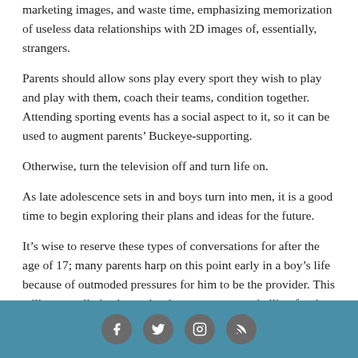marketing images, and waste time, emphasizing memorization of useless data relationships with 2D images of, essentially, strangers.
Parents should allow sons play every sport they wish to play and play with them, coach their teams, condition together. Attending sporting events has a social aspect to it, so it can be used to augment parents’ Buckeye-supporting.
Otherwise, turn the television off and turn life on.
As late adolescence sets in and boys turn into men, it is a good time to begin exploring their plans and ideas for the future.
It’s wise to reserve these types of conversations for after the age of 17; many parents harp on this point early in a boy’s life because of outmoded pressures for him to be the provider. This will eventually lead to a shutdown or, worse, rebellion for the sake of rebellion. A young man needs his freedom in this
Social media icons: Facebook, Twitter, Instagram, RSS